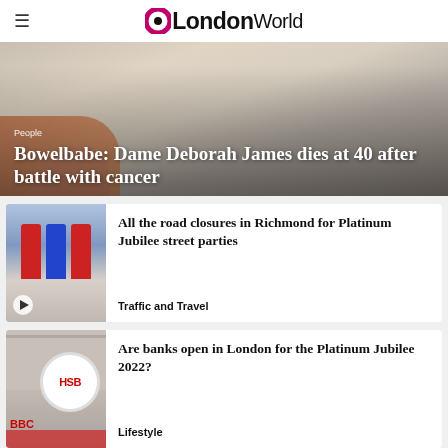OLondonWorld
[Figure (photo): Hero news image: Bowelbabe Dame Deborah James dies at 40 after battle with cancer. Shows hands with red nail polish on a light background with text overlay. Category label: People]
Bowelbabe: Dame Deborah James dies at 40 after battle with cancer
[Figure (photo): Thumbnail of jubilee parade musicians in Union Jack outfits playing brass instruments, with play button overlay]
All the road closures in Richmond for Platinum Jubilee street parties
Traffic and Travel
[Figure (photo): Thumbnail of HSBC bank sign/logo circle on building exterior]
Are banks open in London for the Platinum Jubilee 2022?
Lifestyle